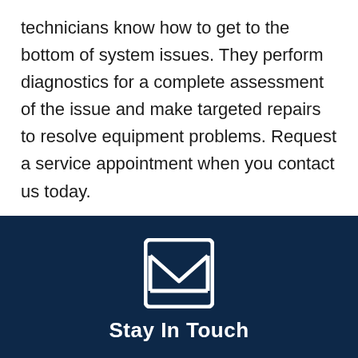technicians know how to get to the bottom of system issues. They perform diagnostics for a complete assessment of the issue and make targeted repairs to resolve equipment problems. Request a service appointment when you contact us today.
[Figure (illustration): White envelope/mail icon on dark navy background]
Stay In Touch